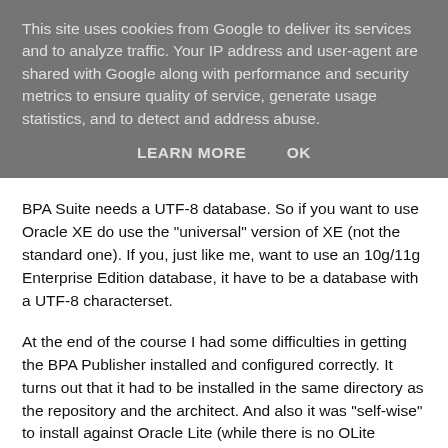This site uses cookies from Google to deliver its services and to analyze traffic. Your IP address and user-agent are shared with Google along with performance and security metrics to ensure quality of service, generate usage statistics, and to detect and address abuse.
LEARN MORE   OK
BPA Suite needs a UTF-8 database. So if you want to use Oracle XE do use the "universal" version of XE (not the standard one). If you, just like me, want to use an 10g/11g Enterprise Edition database, it have to be a database with a UTF-8 characterset.
At the end of the course I had some difficulties in getting the BPA Publisher installed and configured correctly. It turns out that it had to be installed in the same directory as the repository and the architect. And also it was "self-wise" to install against Oracle Lite (while there is no OLite service installed). So we had to reconfigure it with note 556414.1 from metalink to get Publisher configured against a standard Oracle Database.